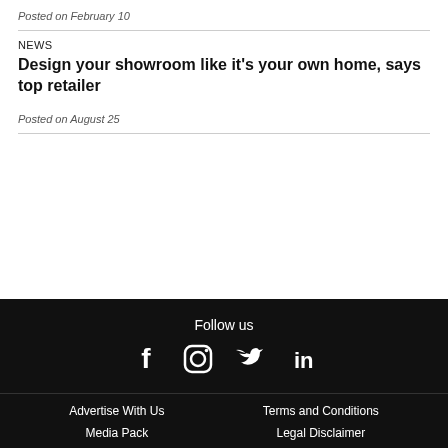Posted on February 10
NEWS
Design your showroom like it's your own home, says top retailer
Posted on August 25
Follow us
[Figure (illustration): Social media icons: Facebook, Instagram, Twitter, LinkedIn]
Advertise With Us | Terms and Conditions | Media Pack | Legal Disclaimer